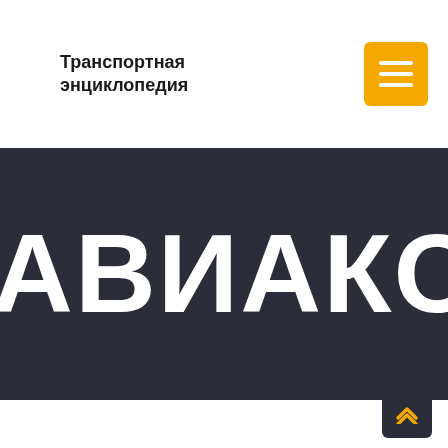Транспортная энциклопедия
[Figure (screenshot): Dark banner with large white bold Russian text 'АВИАКОМПА' (truncated, part of word АВИАКОМПАНИЯ) on dark navy background]
[Figure (other): Scroll-to-top button with chevron up icon on dark background]